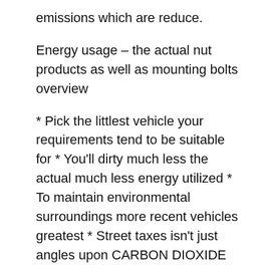emissions which are reduce.
Energy usage – the actual nut products as well as mounting bolts overview
* Pick the littlest vehicle your requirements tend to be suitable for * You'll dirty much less the actual much less energy utilized * To maintain environmental surroundings more recent vehicles greatest * Street taxes isn't just angles upon CARBON DIOXIDE amounts but additionally about the energy kind of your automobile * Automatics usually make use of much more energy